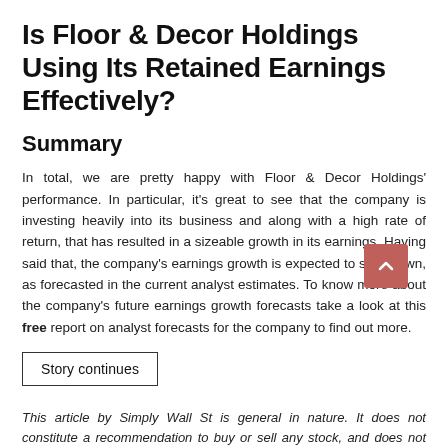Is Floor & Decor Holdings Using Its Retained Earnings Effectively?
Summary
In total, we are pretty happy with Floor & Decor Holdings' performance. In particular, it's great to see that the company is investing heavily into its business and along with a high rate of return, that has resulted in a sizeable growth in its earnings. Having said that, the company's earnings growth is expected to slow down, as forecasted in the current analyst estimates. To know more about the company's future earnings growth forecasts take a look at this free report on analyst forecasts for the company to find out more.
Story continues
This article by Simply Wall St is general in nature. It does not constitute a recommendation to buy or sell any stock, and does not take account of your objectives, or your financial situation. We aim to bring you long-term focused